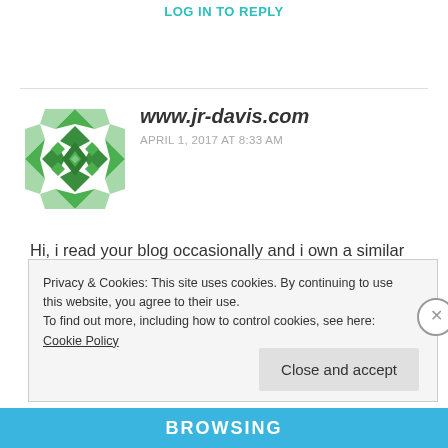LOG IN TO REPLY
[Figure (logo): Green geometric/diamond pattern avatar icon for www.jr-davis.com commenter]
www.jr-davis.com
APRIL 1, 2017 AT 8:33 AM
Hi, i read your blog occasionally and i own a similar one and i was just curious if you get a lot of spam responses?

If so how do you prevent it, any plugin or
Privacy & Cookies: This site uses cookies. By continuing to use this website, you agree to their use.
To find out more, including how to control cookies, see here: Cookie Policy
Close and accept